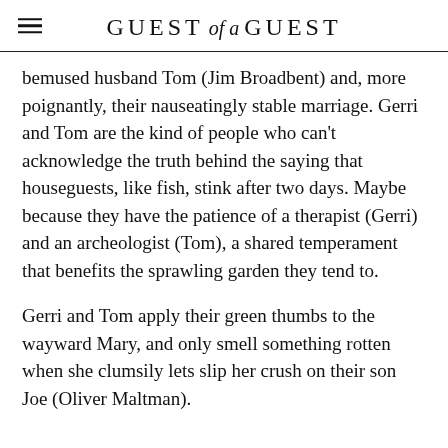GUEST of a GUEST
bemused husband Tom (Jim Broadbent) and, more poignantly, their nauseatingly stable marriage. Gerri and Tom are the kind of people who can't acknowledge the truth behind the saying that houseguests, like fish, stink after two days. Maybe because they have the patience of a therapist (Gerri) and an archeologist (Tom), a shared temperament that benefits the sprawling garden they tend to.
Gerri and Tom apply their green thumbs to the wayward Mary, and only smell something rotten when she clumsily lets slip her crush on their son Joe (Oliver Maltman).